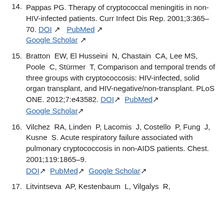14. Pappas PG. Therapy of cryptococcal meningitis in non-HIV-infected patients. Curr Infect Dis Rep. 2001;3:365–70. DOI PubMed Google Scholar
15. Bratton EW, El Husseini N, Chastain CA, Lee MS, Poole C, Stürmer T, Comparison and temporal trends of three groups with cryptococcosis: HIV-infected, solid organ transplant, and HIV-negative/non-transplant. PLoS ONE. 2012;7:e43582. DOI PubMed Google Scholar
16. Vilchez RA, Linden P, Lacomis J, Costello P, Fung J, Kusne S. Acute respiratory failure associated with pulmonary cryptococcosis in non-AIDS patients. Chest. 2001;119:1865–9. DOI PubMed Google Scholar
17. Litvintseva AP, Kestenbaum L, Vilgalys R, ...